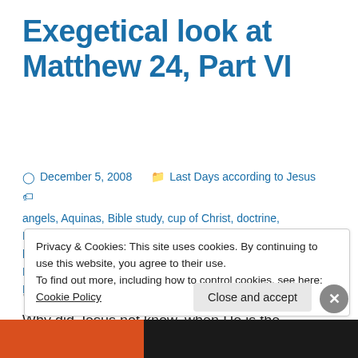Exegetical look at Matthew 24, Part VI
December 5, 2008   Last Days according to Jesus
angels, Aquinas, Bible study, cup of Christ, doctrine, Eschatology, exegetical, faith development, great tribulation, hard saying of Jesus, Holy Spirit, judgment, last supper, Matthew, Olivet Discourse, omnipresence, prayer, Rapture, Reformed, Servant, Taken, Thief, Trinity, Watch
Vs.36-50: No one knows…angels, or the Son… Why did Jesus not know, when He is the omnipresence
Privacy & Cookies: This site uses cookies. By continuing to use this website, you agree to their use.
To find out more, including how to control cookies, see here: Cookie Policy